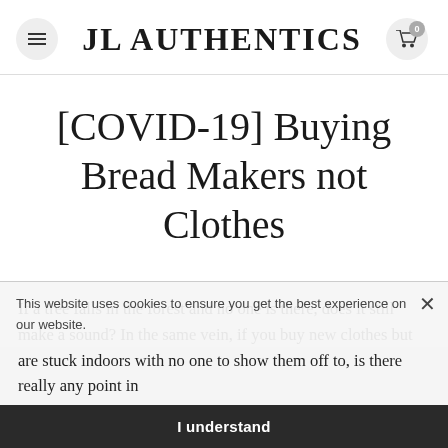JL AUTHENTICS
[COVID-19] Buying Bread Makers not Clothes
This website uses cookies to ensure you get the best experience on our website.
If a tree falls in the forest and no one is there, does it still make a sound? In the same vein, if you buy new clothes but are stuck indoors with no one to show them off to, is there really any point in
I understand